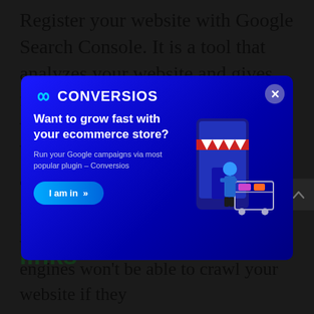Register your website with Google Search Console. It is a tool that analyzes your website and gives feedback on ways to enhance the way y... b... a...
[Figure (screenshot): Conversios popup/modal advertisement. Dark blue gradient background. Logo: infinity symbol + CONVERSIOS text in white. Headline: 'Want to grow fast with your ecommerce store?' Subtext: 'Run your Google campaigns via most popular plugin – Conversios'. CTA button: 'I am in »' in blue. Right side shows an ecommerce illustration with a shopping cart and person. Close X button in top right corner.]
links
It is essential to examine your website for broken links. Search engines won't be able to crawl your website if they